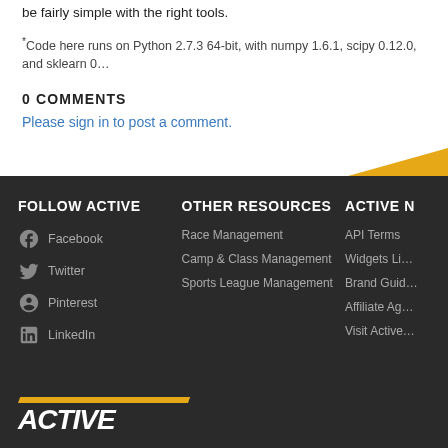be fairly simple with the right tools.
*Code here runs on Python 2.7.3 64-bit, with numpy 1.6.1, scipy 0.12.0, and sklearn 0…
0 COMMENTS
Please sign in to post a comment.
FOLLOW ACTIVE | OTHER RESOURCES | ACTIVE N… | Facebook | Twitter | Pinterest | LinkedIn | Race Management | Camp & Class Management | Sports League Management | API Terms | Widgets Li… | Brand Guid… | Affiliate Ag… | Visit Active…